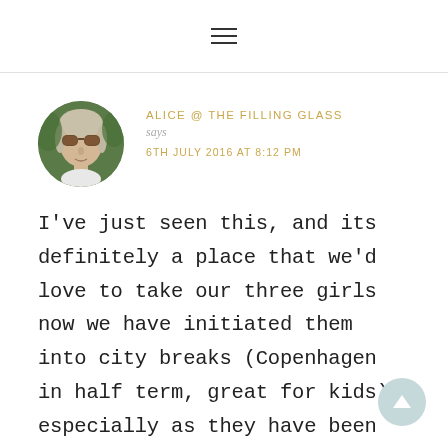≡
ALICE @ THE FILLING GLASS says 6TH JULY 2016 AT 8:12 PM
[Figure (photo): Circular avatar photo of a woman wearing sunglasses outdoors with green foliage in background]
I've just seen this, and its definitely a place that we'd love to take our three girls now we have initiated them into city breaks (Copenhagen in half term, great for kids), especially as they have been 'doing' the Romans at school. I'll be looking